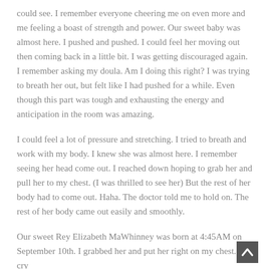could see. I remember everyone cheering me on even more and me feeling a boast of strength and power. Our sweet baby was almost here. I pushed and pushed. I could feel her moving out then coming back in a little bit. I was getting discouraged again. I remember asking my doula. Am I doing this right? I was trying to breath her out, but felt like I had pushed for a while. Even though this part was tough and exhausting the energy and anticipation in the room was amazing.
I could feel a lot of pressure and stretching. I tried to breath and work with my body. I knew she was almost here. I remember seeing her head come out. I reached down hoping to grab her and pull her to my chest. (I was thrilled to see her) But the rest of her body had to come out. Haha. The doctor told me to hold on. The rest of her body came out easily and smoothly.
Our sweet Rey Elizabeth MaWhinney was born at 4:45AM on September 10th. I grabbed her and put her right on my chest. Her cry